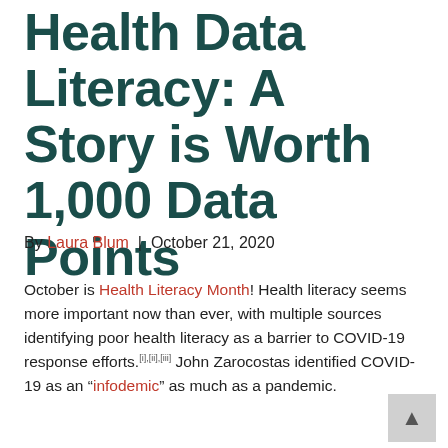Health Data Literacy: A Story is Worth 1,000 Data Points
By Laura Blum | October 21, 2020
October is Health Literacy Month! Health literacy seems more important now than ever, with multiple sources identifying poor health literacy as a barrier to COVID-19 response efforts.[i],[ii],[iii] John Zarocostas identified COVID-19 as an “infodemic” as much as a pandemic.